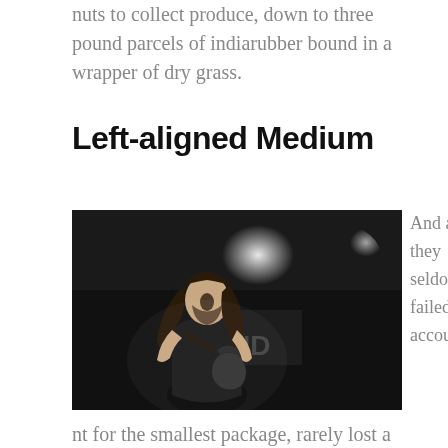nuts to collect produce, down to three pound parcels of indiarubber bound in a wrapper of dry grass.
Left-aligned Medium
[Figure (photo): Black and white photograph of a long-haired male guitarist performing on stage, playing electric guitar with mouth open, stage lights in background.]
And as they seldom failed to account for the smallest package, rarely lost a